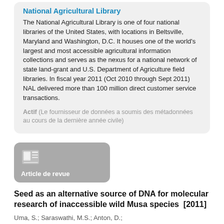National Agricultural Library
The National Agricultural Library is one of four national libraries of the United States, with locations in Beltsville, Maryland and Washington, D.C. It houses one of the world's largest and most accessible agricultural information collections and serves as the nexus for a national network of state land-grant and U.S. Department of Agriculture field libraries. In fiscal year 2011 (Oct 2010 through Sept 2011) NAL delivered more than 100 million direct customer service transactions.
Actif (Le fournisseur de données a soumis des métadonnées au cours de la dernière année civile)
[Figure (other): Grey rounded rectangle card with a newspaper/article icon and label 'Article de revue']
Seed as an alternative source of DNA for molecular research of inaccessible wild Musa species  [2011]
Uma, S.; Saraswathi, M.S.; Anton, D.;
Visualise le texte intégral